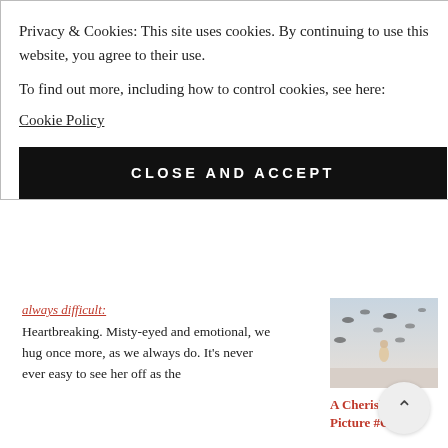Privacy & Cookies: This site uses cookies. By continuing to use this website, you agree to their use.
To find out more, including how to control cookies, see here: Cookie Policy
CLOSE AND ACCEPT
always difficult:
Heartbreaking. Misty-eyed and emotional, we hug once more, as we always do. It's never ever easy to see her off as the
[Figure (photo): Birds and a figure in a misty outdoor scene]
A Cherished Picture #CBF17
[Figure (photo): Circular badge over floral/patchwork image reading 'Six Months of 2019', website www.hersoultales.com]
My Patchwork of Experiences: Six Months